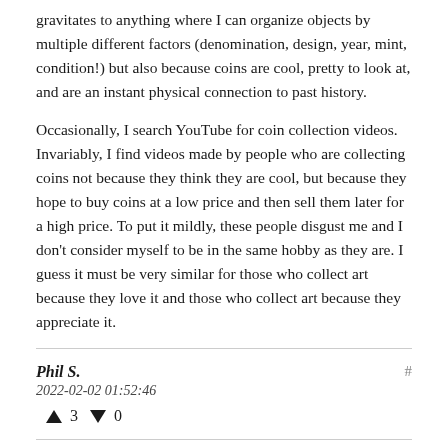gravitates to anything where I can organize objects by multiple different factors (denomination, design, year, mint, condition!) but also because coins are cool, pretty to look at, and are an instant physical connection to past history.

Occasionally, I search YouTube for coin collection videos. Invariably, I find videos made by people who are collecting coins not because they think they are cool, but because they hope to buy coins at a low price and then sell them later for a high price. To put it mildly, these people disgust me and I don't consider myself to be in the same hobby as they are. I guess it must be very similar for those who collect art because they love it and those who collect art because they appreciate it.
Phil S.
2022-02-02 01:52:46
▲ 3 ▼ 0
If you buy art with the intention of preserving/enhancing value, think of this...